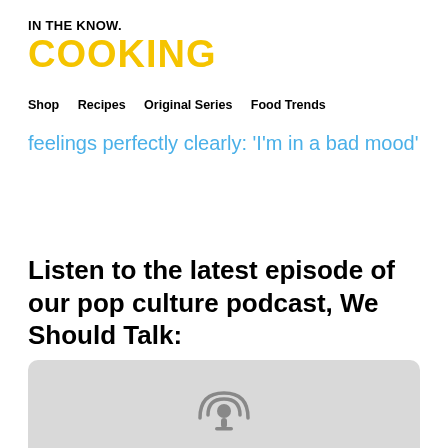IN THE KNOW.
COOKING
Shop   Recipes   Original Series   Food Trends
feelings perfectly clearly: 'I'm in a bad mood'
Listen to the latest episode of our pop culture podcast, We Should Talk:
[Figure (other): Podcast player embed widget with gray background and podcast microphone icon]